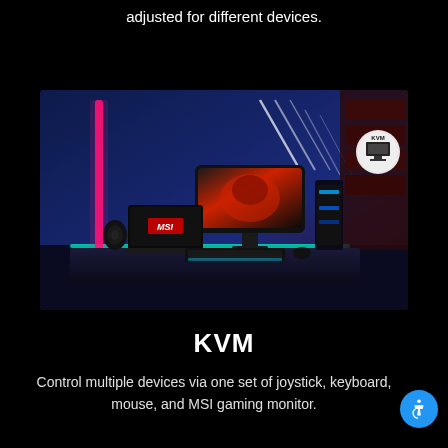adjusted for different devices.
[Figure (photo): MSI gaming setup with curved monitor, laptop, gaming PC tower, RGB lighting, keyboard and mouse on a gaming desk. KVM logo badge in upper right corner of image.]
KVM
Control multiple devices via one set of joystick, keyboard, mouse, and MSI gaming monitor.